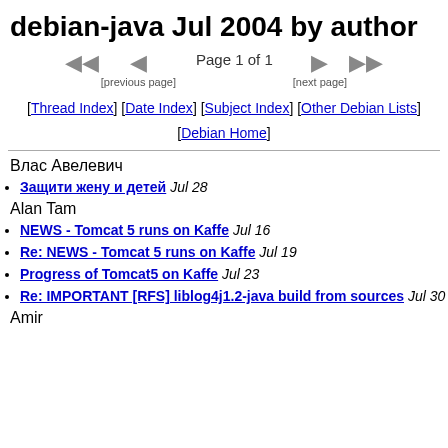debian-java Jul 2004 by author
Page 1 of 1  [previous page]  [next page]
[Thread Index] [Date Index] [Subject Index] [Other Debian Lists] [Debian Home]
Влас Авелевич
Защити жену и детей  Jul 28
Alan Tam
NEWS - Tomcat 5 runs on Kaffe  Jul 16
Re: NEWS - Tomcat 5 runs on Kaffe  Jul 19
Progress of Tomcat5 on Kaffe  Jul 23
Re: IMPORTANT [RFS] liblog4j1.2-java build from sources  Jul 30
Amir